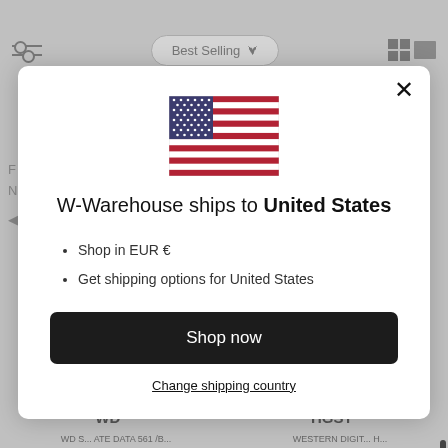[Figure (screenshot): Background greyed-out e-commerce page with filter icon, Best Selling dropdown, grid view icons, and product labels WD and HGST at bottom]
[Figure (illustration): United States flag icon — red and white horizontal stripes with blue canton containing white stars]
W-Warehouse ships to United States
Shop in EUR €
Get shipping options for United States
Shop now
Change shipping country